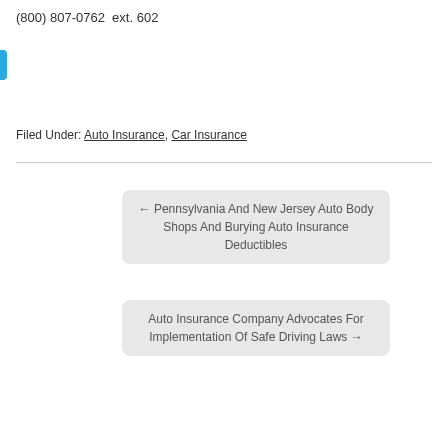(800) 807-0762  ext. 602
Filed Under: Auto Insurance, Car Insurance
← Pennsylvania And New Jersey Auto Body Shops And Burying Auto Insurance Deductibles
Auto Insurance Company Advocates For Implementation Of Safe Driving Laws →